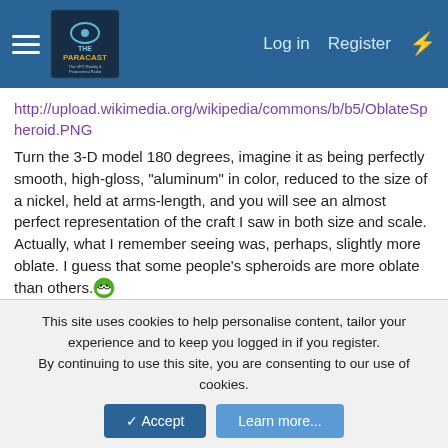The Paracast [hamburger menu, logo, Log in, Register]
http://upload.wikimedia.org/wikipedia/commons/b/b5/OblateSpheroid.PNG
Turn the 3-D model 180 degrees, imagine it as being perfectly smooth, high-gloss, "aluminum" in color, reduced to the size of a nickel, held at arms-length, and you will see an almost perfect representation of the craft I saw in both size and scale. Actually, what I remember seeing was, perhaps, slightly more oblate. I guess that some people's spheroids are more oblate than others. 😁
Graphimancer said: ↑
This site uses cookies to help personalise content, tailor your experience and to keep you logged in if you register.
By continuing to use this site, you are consenting to our use of cookies.